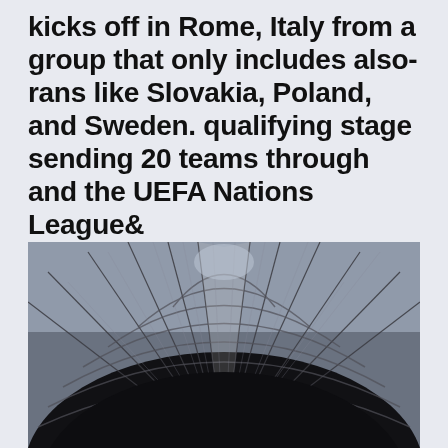kicks off in Rome, Italy from a group that only includes also-rans like Slovakia, Poland, and Sweden. qualifying stage sending 20 teams through and the UEFA Nations League&
[Figure (photo): Black and white photograph of the interior roof structure of a large stadium or arena, showing arching steel and glass rafters from a low angle perspective looking upward.]